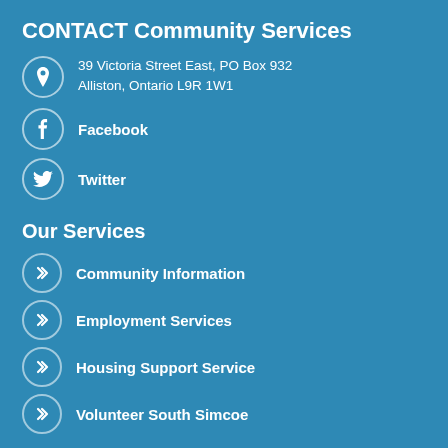CONTACT Community Services
39 Victoria Street East, PO Box 932
Alliston, Ontario L9R 1W1
Facebook
Twitter
Our Services
Community Information
Employment Services
Housing Support Service
Volunteer South Simcoe
This website was built with accessibility in mind. Please let us know if you encounter any difficulties using this site.
© 2016 Contact South Simcoe
This database runs on the OpenCIOC Platform